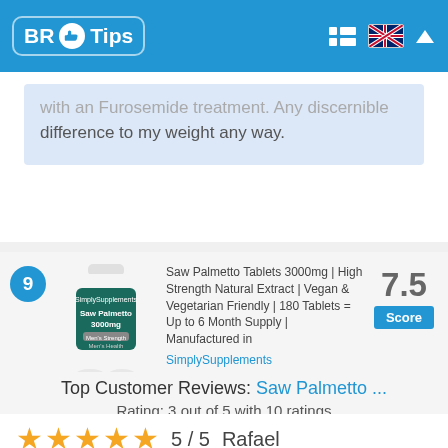BR Tips
... difference to my weight any way.
[Figure (photo): Product bottle of Saw Palmetto Tablets 3000mg by SimplySupplements]
Saw Palmetto Tablets 3000mg | High Strength Natural Extract | Vegan & Vegetarian Friendly | 180 Tablets = Up to 6 Month Supply | Manufactured in SimplySupplements
7.5 Score
Top Customer Reviews: Saw Palmetto ...
Rating: 3 out of 5 with 10 ratings
★★★★★  5 / 5   Rafael